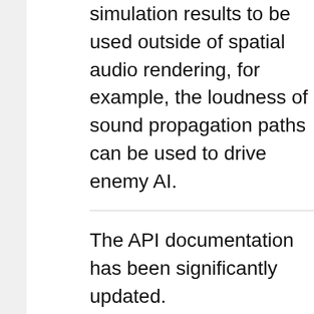simulation results to be used outside of spatial audio rendering, for example, the loudness of sound propagation paths can be used to drive enemy AI.
The API documentation has been significantly updated.
Improvements
InstancedMesh objects (dynamic geometry) are now supported using the